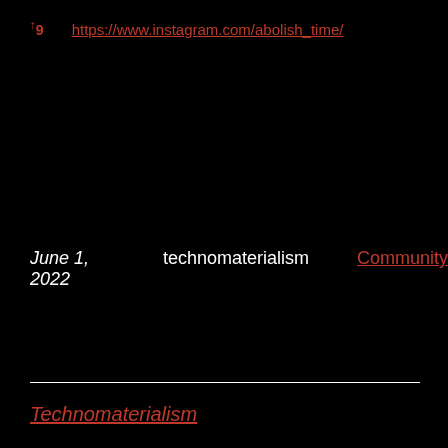↑9   https://www.instagram.com/abolish_time/
June 1, 2022    technomaterialism    Community
Technomaterialism